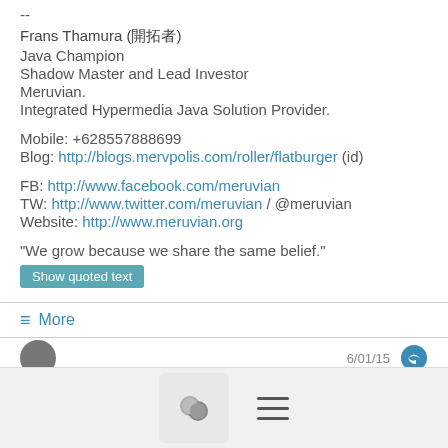--
Frans Thamura (開拓者)
Java Champion
Shadow Master and Lead Investor
Meruvian.
Integrated Hypermedia Java Solution Provider.
Mobile: +628557888699
Blog: http://blogs.mervpolis.com/roller/flatburger (id)
FB: http://www.facebook.com/meruvian
TW: http://www.twitter.com/meruvian / @meruvian
Website: http://www.meruvian.org
"We grow because we share the same belief."
Show quoted text
≡ More
6/01/15